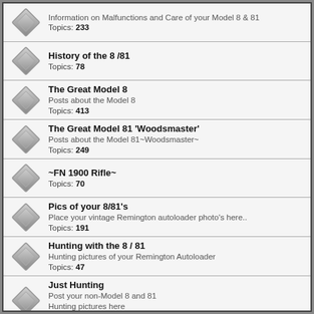Information on Malfunctions and Care of your Model 8 & 81
Topics: 233
History of the 8 /81
Topics: 78
The Great Model 8
Posts about the Model 8
Topics: 413
The Great Model 81 'Woodsmaster'
Posts about the Model 81~Woodsmaster~
Topics: 249
~FN 1900 Rifle~
Topics: 70
Pics of your 8/81's
Place your vintage Remington autoloader photo's here..
Topics: 191
Hunting with the 8 / 81
Hunting pictures of your Remington Autoloader
Topics: 47
Just Hunting
Post your non-Model 8 and 81
Hunting pictures here
Topics: 54
Great Links
Topics: 12